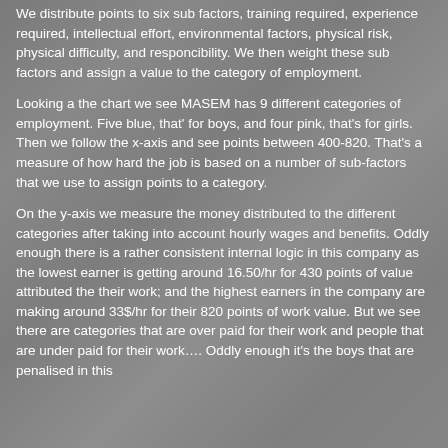We distribute points to six sub factors, training required, experience required, intellectual effort, environmental factors, physical risk, physical difficulty, and responcibility. We then weight these sub factors and assign a value to the category of employment.
Looking a the chart we see MASEM has 9 different categories of employment. Five blue, that' for boys, and four pink, that's for girls. Then we follow the x-axis and see points between 400-820. That's a measure of how hard the job is based on a number of sub-factors that we use to assign points to a category.
On the y-axis we measure the money distributed to the different categories after taking into account hourly wages and benefits. Oddly enough there is a rather consistent internal logic in this company as the lowest earner is getting around 16.50/hr for 430 points of value attributed the their work; and the highest earners in the company are making around 33$/hr for their 820 points of work value. But we see there are categories that are over paid for their work and people that are under paid for their work…. Oddly enough it's the boys that are penalised in this